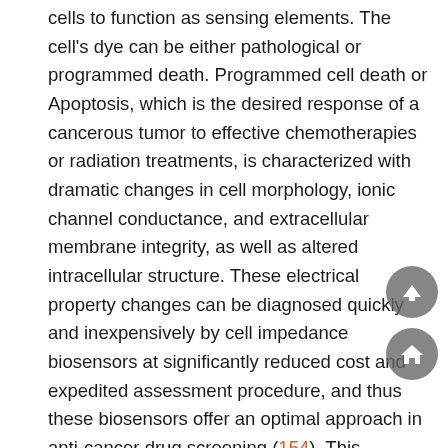cells to function as sensing elements. The cell's dye can be either pathological or programmed death. Programmed cell death or Apoptosis, which is the desired response of a cancerous tumor to effective chemotherapies or radiation treatments, is characterized with dramatic changes in cell morphology, ionic channel conductance, and extracellular membrane integrity, as well as altered intracellular structure. These electrical property changes can be diagnosed quickly and inexpensively by cell impedance biosensors at significantly reduced cost and expedited assessment procedure, and thus these biosensors offer an optimal approach in anti-cancer drug screening (154). This technology can improve healthcare in the developing world and provide rapid diagnoses for livestock on isolated farms, as integrated chips using impedance can eventually reach clinical settings and will be useful in remote regions that lack good infrastructure or experienced personnel (155).
A study focused on monitoring the apoptosis-induced changes in cell shape in an integral and quantitative fashion with a time...